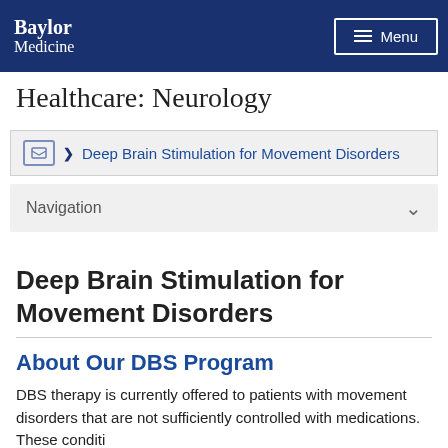Baylor Medicine
Healthcare: Neurology
Deep Brain Stimulation for Movement Disorders
Navigation
Deep Brain Stimulation for Movement Disorders
About Our DBS Program
DBS therapy is currently offered to patients with movement disorders that are not sufficiently controlled with medications. These conditi...